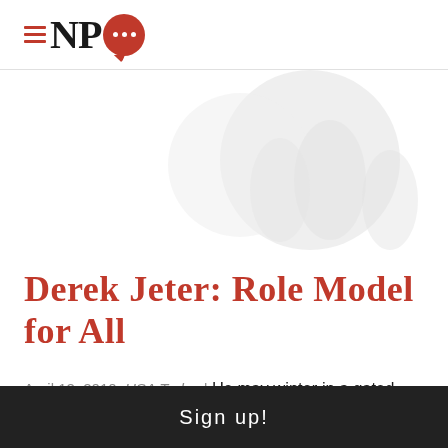NPQ
[Figure (logo): NPQ watermark / background decorative speech bubble graphic in light gray]
Derek Jeter: Role Model for All
April 12, 2010; USA Today | He may winter in a gated community in Tampa, but in Kalamazoo, Mich., his hometown, Derek Jeter is lauded for his charitable endeavors.—Rick Cohen
Sign up!